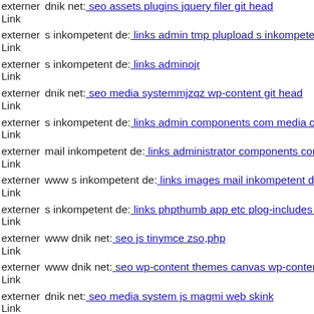externer Link | dnik net: seo assets plugins jquery filer git head
externer Link | s inkompetent de: links admin tmp plupload s inkompetent
externer Link | s inkompetent de: links adminojr
externer Link | dnik net: seo media systemmjzqz wp-content git head
externer Link | s inkompetent de: links admin components com media com
externer Link | mail inkompetent de: links administrator components com j
externer Link | www s inkompetent de: links images mail inkompetent de
externer Link | s inkompetent de: links phpthumb app etc plog-includes lib
externer Link | www dnik net: seo js tinymce zso,php
externer Link | www dnik net: seo wp-content themes canvas wp-content th
externer Link | dnik net: seo media system js magmi web skink
externer Link | s inkompetent de: links phpthumb api admin wp-content